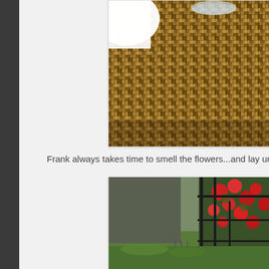[Figure (photo): Close-up overhead photo of a woven wicker/rattan table surface with a white fabric and a glass visible at the top]
Frank always takes time to smell the flowers...and lay unde
[Figure (photo): Outdoor garden photo showing red roses climbing a black metal trellis/fence with green lawn in the background]